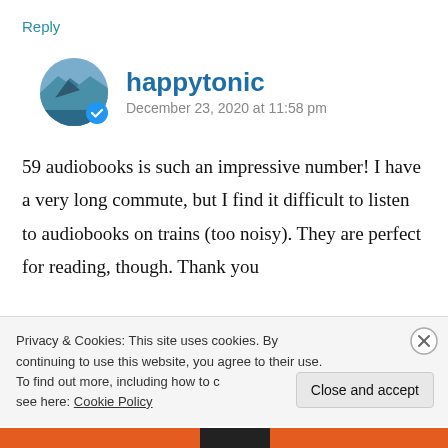Reply
happytonic
December 23, 2020 at 11:58 pm
59 audiobooks is such an impressive number! I have a very long commute, but I find it difficult to listen to audiobooks on trains (too noisy). They are perfect for reading, though. Thank you
Privacy & Cookies: This site uses cookies. By continuing to use this website, you agree to their use. To find out more, including how to control cookies, see here: Cookie Policy